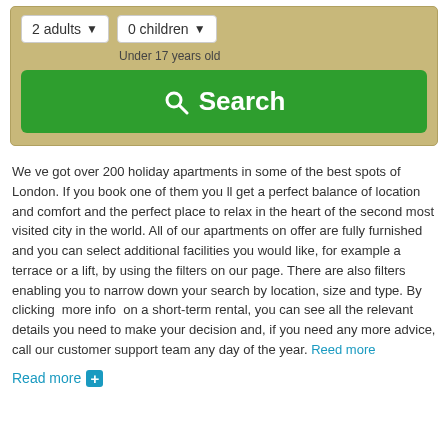[Figure (screenshot): Search widget with two dropdowns ('2 adults' and '0 children') on a tan/gold background, with a large green Search button below and a note 'Under 17 years old']
We ve got over 200 holiday apartments in some of the best spots of London. If you book one of them you ll get a perfect balance of location and comfort and the perfect place to relax in the heart of the second most visited city in the world. All of our apartments on offer are fully furnished and you can select additional facilities you would like, for example a terrace or a lift, by using the filters on our page. There are also filters enabling you to narrow down your search by location, size and type. By clicking  more info  on a short-term rental, you can see all the relevant details you need to make your decision and, if you need any more advice, call our customer support team any day of the year. Reed more
Read more